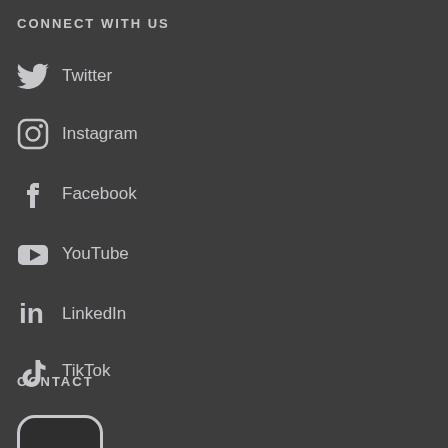CONNECT WITH US
Twitter
Instagram
Facebook
YouTube
LinkedIn
TikTok
Blog
CONTACT
[Figure (logo): Pocket app logo — rounded square icon with the word 'pocket' in white text on dark background]